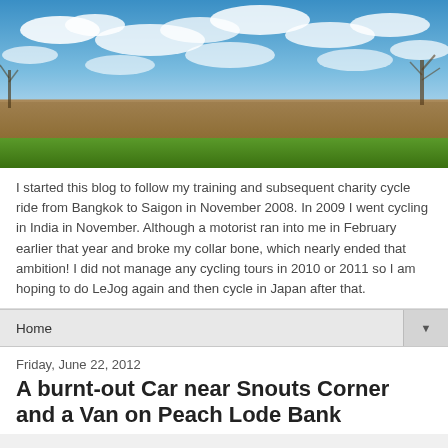[Figure (photo): Panoramic landscape photo showing a wide open field under a vivid blue sky with scattered white clouds. Green grass visible in the foreground, a plowed brown field in the middle distance, and bare trees on the right edge.]
I started this blog to follow my training and subsequent charity cycle ride from Bangkok to Saigon in November 2008. In 2009 I went cycling in India in November. Although a motorist ran into me in February earlier that year and broke my collar bone, which nearly ended that ambition! I did not manage any cycling tours in 2010 or 2011 so I am hoping to do LeJog again and then cycle in Japan after that.
Home ▼
Friday, June 22, 2012
A burnt-out Car near Snouts Corner and a Van on Peach Lode Bank